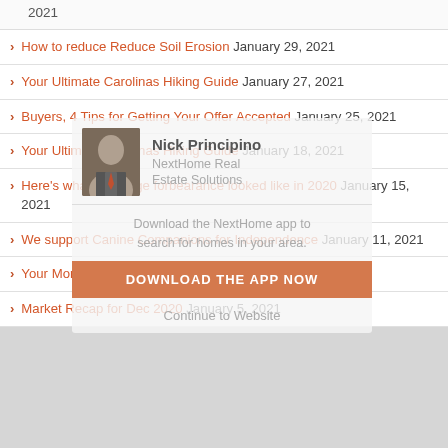2021
How to reduce Reduce Soil Erosion January 29, 2021
Your Ultimate Carolinas Hiking Guide January 27, 2021
Buyers, 4 Tips for Getting Your Offer Accepted January 25, 2021
Your Ultimate Carolinas Hiking Guide January 18, 2021
Here's what mortgage forbearance looked like in 2020 January 15, 2021
We support Canine Companions for Independence January 11, 2021
Your Monthly Maintenance Minute January 8, 2021
Market Recap for Dec 2020 January 5, 2021
[Figure (other): Overlay card showing Nick Principino, NextHome Real Estate Solutions agent card with app download prompt]